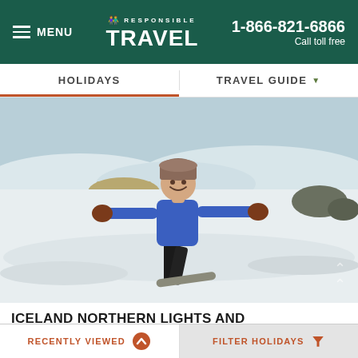RESPONSIBLE TRAVEL | 1-866-821-6866 | Call toll free | MENU
HOLIDAYS | TRAVEL GUIDE
[Figure (photo): A person in a blue North Face jacket and winter hat stands with arms outstretched on a snowy landscape, appearing to be snowshoeing or snowboarding in Iceland.]
ICELAND NORTHERN LIGHTS AND SNOWSHOEING HOLIDAY
RECENTLY VIEWED | FILTER HOLIDAYS